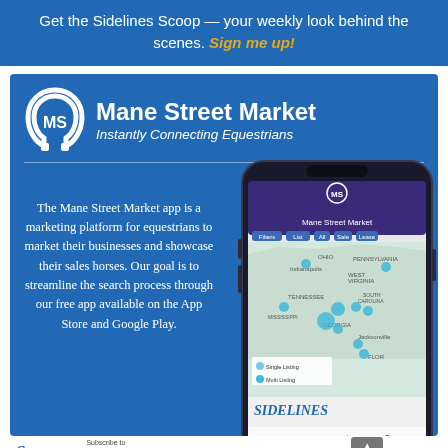Get the Sidelines Scoop — your weekly look behind the scenes. Sign me up!
[Figure (infographic): Mane Street Market app advertisement showing a horseshoe MS logo, title 'Mane Street Market / Instantly Connecting Equestrians', descriptive text about the marketing platform for equestrians, and a smartphone mockup displaying the app with a map view showing listings across the eastern US.]
SIDELINES | Subscribe to Sidelines Magazine For Horse People About Horse People | TOP | Privacy · Terms